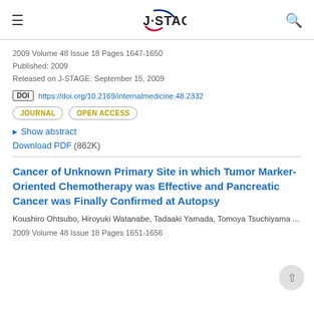J-STAGE
2009 Volume 48 Issue 18 Pages 1647-1650
Published: 2009
Released on J-STAGE: September 15, 2009
DOI https://doi.org/10.2169/internalmedicine.48.2332
JOURNAL   OPEN ACCESS
Show abstract
Download PDF (862K)
Cancer of Unknown Primary Site in which Tumor Marker-Oriented Chemotherapy was Effective and Pancreatic Cancer was Finally Confirmed at Autopsy
Koushiro Ohtsubo, Hiroyuki Watanabe, Tadaaki Yamada, Tomoya Tsuchiyama ...
2009 Volume 48 Issue 18 Pages 1651-1656